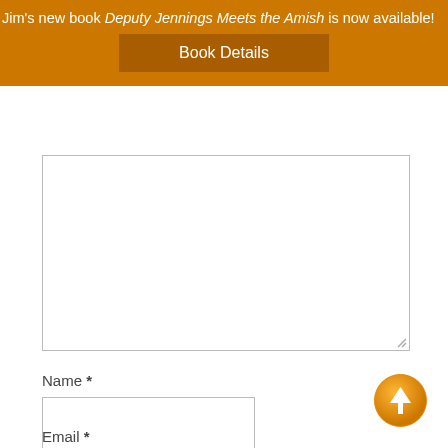Jim's new book Deputy Jennings Meets the Amish is now available!
Book Details
[Figure (screenshot): Comment text area input box, empty, with resize handle at bottom right]
Name *
[Figure (screenshot): Name input text field, empty]
Email *
[Figure (illustration): Orange circular scroll-to-top arrow button]